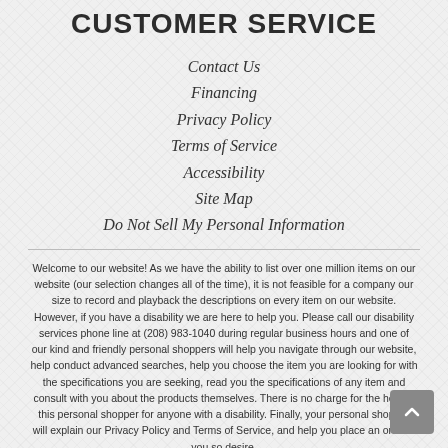CUSTOMER SERVICE
Contact Us
Financing
Privacy Policy
Terms of Service
Accessibility
Site Map
Do Not Sell My Personal Information
Welcome to our website! As we have the ability to list over one million items on our website (our selection changes all of the time), it is not feasible for a company our size to record and playback the descriptions on every item on our website. However, if you have a disability we are here to help you. Please call our disability services phone line at (208) 983-1040 during regular business hours and one of our kind and friendly personal shoppers will help you navigate through our website, help conduct advanced searches, help you choose the item you are looking for with the specifications you are seeking, read you the specifications of any item and consult with you about the products themselves. There is no charge for the help of this personal shopper for anyone with a disability. Finally, your personal shopper will explain our Privacy Policy and Terms of Service, and help you place an order if you so desire.